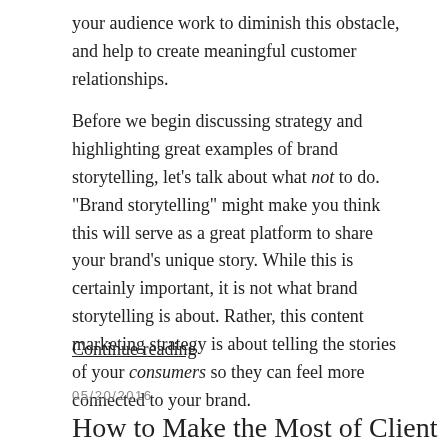your audience work to diminish this obstacle, and help to create meaningful customer relationships.
Before we begin discussing strategy and highlighting great examples of brand storytelling, let’s talk about what not to do. “Brand storytelling” might make you think this will serve as a great platform to share your brand’s unique story. While this is certainly important, it is not what brand storytelling is about. Rather, this content marketing strategy is about telling the stories of your consumers so they can feel more connected to your brand.
Continue reading
05/20/2016
How to Make the Most of Client